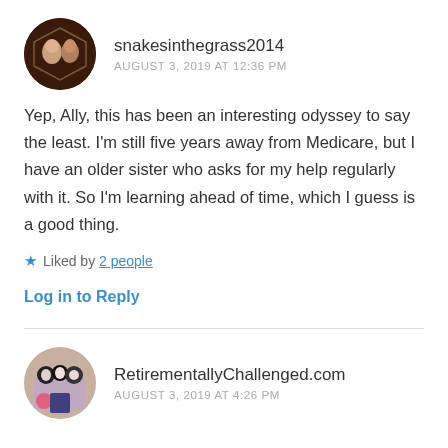[Figure (photo): Circular avatar photo with dark brown/maroon background, appears to show two people]
snakesinthegrass2014
AUGUST 3, 2019 AT 12:36 PM
Yep, Ally, this has been an interesting odyssey to say the least. I'm still five years away from Medicare, but I have an older sister who asks for my help regularly with it. So I'm learning ahead of time, which I guess is a good thing.
★ Liked by 2 people
Log in to Reply
[Figure (photo): Circular avatar photo showing group of people in costumes]
RetirementallyChallenged.com
AUGUST 3, 2019 AT 4:26 PM